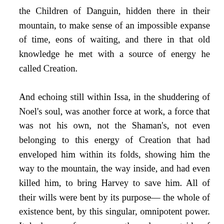the Children of Danguin, hidden there in their mountain, to make sense of an impossible expanse of time, eons of waiting, and there in that old knowledge he met with a source of energy he called Creation.

And echoing still within Issa, in the shuddering of Noel's soul, was another force at work, a force that was not his own, not the Shaman's, not even belonging to this energy of Creation that had enveloped him within its folds, showing him the way to the mountain, the way inside, and had even killed him, to bring Harvey to save him. All of their wills were bent by its purpose— the whole of existence bent, by this singular, omnipotent power. It had come from some other place, outside of time, from some other existence, perhaps even before existence existed, and it had taken hold of every part of Noel, and would not let go, until he completed the Wanderer Lives, somehow. It